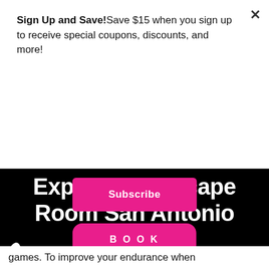Sign Up and Save!Save $15 when you sign up to receive special coupons, discounts, and more!
Subscribe
Experience Escape Room San Antonio
Book one of our 6 escape rooms and experience the ultimate escape adventure – there's something for everyone. We can't wait to see you!
BOOK
[Figure (illustration): Colorful layered blob shapes in blue, yellow, pink at bottom of dark section; white blob on left side]
games. To improve your endurance when